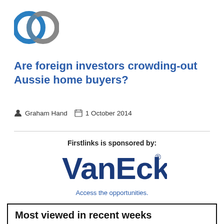[Figure (logo): Firstlinks interlocking circles logo in blue and grey]
Are foreign investors crowding-out Aussie home buyers?
Graham Hand   1 October 2014
Firstlinks is sponsored by:
[Figure (logo): VanEck logo with tagline 'Access the opportunities.']
Most viewed in recent weeks